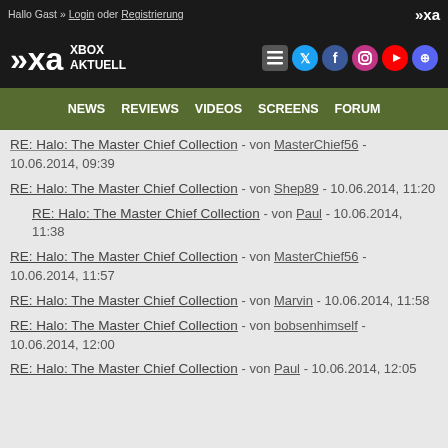Hallo Gast » Login oder Registrierung
[Figure (logo): Xbox Aktuell logo with social media icons (Twitter, Facebook, Instagram, YouTube, Discord)]
NEWS | REVIEWS | VIDEOS | SCREENS | FORUM
RE: Halo: The Master Chief Collection - von MasterChief56 - 10.06.2014, 09:39
RE: Halo: The Master Chief Collection - von Shep89 - 10.06.2014, 11:20
RE: Halo: The Master Chief Collection - von Paul - 10.06.2014, 11:38
RE: Halo: The Master Chief Collection - von MasterChief56 - 10.06.2014, 11:57
RE: Halo: The Master Chief Collection - von Marvin - 10.06.2014, 11:58
RE: Halo: The Master Chief Collection - von bobsenhimself - 10.06.2014, 12:00
RE: Halo: The Master Chief Collection - von Paul - 10.06.2014, 12:05